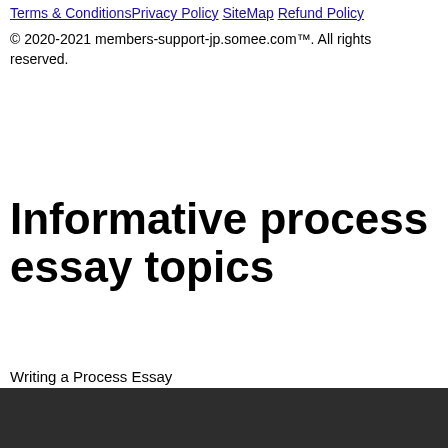Terms & Conditions | Privacy Policy | SiteMap | Refund Policy
© 2020-2021 members-support-jp.somee.com™. All rights reserved.
Informative process essay topics
Writing a Process Essay
[Figure (screenshot): Dark video player panel showing 'Video unavailable' text overlay, with an advertisement bar at the bottom reading 'Hosted Windows Virtual Server. 2.5GHz CPU, 2GB RAM, 60GB SSD. Try it now for $1!']